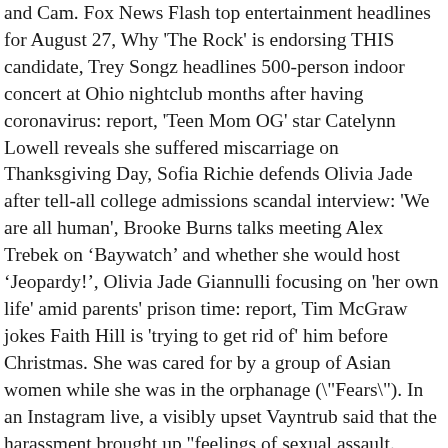and Cam. Fox News Flash top entertainment headlines for August 27, Why 'The Rock' is endorsing THIS candidate, Trey Songz headlines 500-person indoor concert at Ohio nightclub months after having coronavirus: report, 'Teen Mom OG' star Catelynn Lowell reveals she suffered miscarriage on Thanksgiving Day, Sofia Richie defends Olivia Jade after tell-all college admissions scandal interview: 'We are all human', Brooke Burns talks meeting Alex Trebek on ‘Baywatch’ and whether she would host ‘Jeopardy!’, Olivia Jade Giannulli focusing on 'her own life' amid parents' prison time: report, Tim McGraw jokes Faith Hill is 'trying to get rid of' him before Christmas. She was cared for by a group of Asian women while she was in the orphanage (\"Fears\"). In an Instagram live, a visibly upset Vayntrub said that the harassment brought up "feelings of sexual assault. Ultimately, Lu decided to post the comments to show how people behave with impunity online. "Maybe it just has to do with being a person on the internet, or maybe it's specific to being